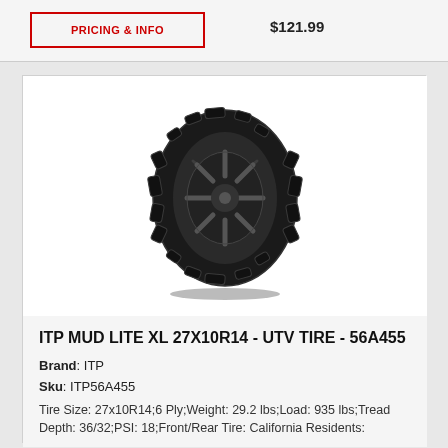PRICING & INFO
$121.99
[Figure (photo): ITP Mud Lite XL 27x10R14 UTV tire mounted on a dark multi-spoke wheel, shown on white background. Large aggressive mud terrain tread pattern.]
ITP MUD LITE XL 27X10R14 - UTV TIRE - 56A455
Brand: ITP
Sku: ITP56A455
Tire Size: 27x10R14;6 Ply;Weight: 29.2 lbs;Load: 935 lbs;Tread Depth: 36/32;PSI: 18;Front/Rear Tire: California Residents: